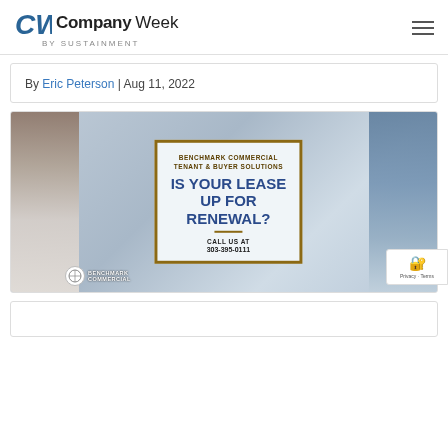CompanyWeek by Sustainment
By Eric Peterson | Aug 11, 2022
[Figure (advertisement): Benchmark Commercial Tenant & Buyer Solutions advertisement. Text reads: 'IS YOUR LEASE UP FOR RENEWAL?' with tagline 'CALL US AT 303-395-0111'. Background shows city buildings including Union Station area in Denver. Benchmark Commercial logo at bottom left of the ad.]